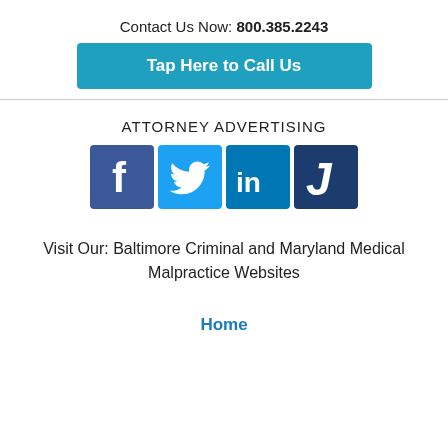Contact Us Now: 800.385.2243
Tap Here to Call Us
ATTORNEY ADVERTISING
[Figure (illustration): Social media icons: Facebook, Twitter, LinkedIn, Justia]
Visit Our: Baltimore Criminal and Maryland Medical Malpractice Websites
Home